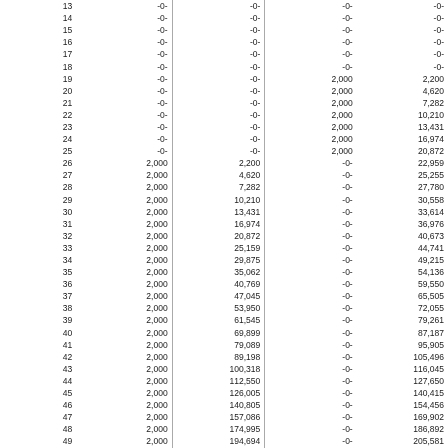| Age | Col1 | Col2 | Col3 | Col4 |
| --- | --- | --- | --- | --- |
| 13 | -0- | -0- | -0- | -0- |
| 14 | -0- | -0- | -0- | -0- |
| 15 | -0- | -0- | -0- | -0- |
| 16 | -0- | -0- | -0- | -0- |
| 17 | -0- | -0- | -0- | -0- |
| 18 | -0- | -0- | -0- | -0- |
| 19 | -0- | -0- | 2,000 | 2,200 |
| 20 | -0- | -0- | 2,000 | 4,620 |
| 21 | -0- | -0- | 2,000 | 7,282 |
| 22 | -0- | -0- | 2,000 | 10,210 |
| 23 | -0- | -0- | 2,000 | 13,431 |
| 24 | -0- | -0- | 2,000 | 16,974 |
| 25 | -0- | -0- | 2,000 | 20,872 |
| 26 | 2,000 | 2,200 | -0- | 22,959 |
| 27 | 2,000 | 4,620 | -0- | 25,255 |
| 28 | 2,000 | 7,282 | -0- | 27,780 |
| 29 | 2,000 | 10,210 | -0- | 30,558 |
| 30 | 2,000 | 13,431 | -0- | 33,614 |
| 31 | 2,000 | 16,974 | -0- | 36,976 |
| 32 | 2,000 | 20,872 | -0- | 40,673 |
| 33 | 2,000 | 25,159 | -0- | 44,741 |
| 34 | 2,000 | 29,875 | -0- | 49,215 |
| 35 | 2,000 | 35,062 | -0- | 54,136 |
| 36 | 2,000 | 40,769 | -0- | 59,550 |
| 37 | 2,000 | 47,045 | -0- | 65,505 |
| 38 | 2,000 | 53,950 | -0- | 72,055 |
| 39 | 2,000 | 61,545 | -0- | 79,261 |
| 40 | 2,000 | 69,899 | -0- | 87,187 |
| 41 | 2,000 | 79,089 | -0- | 95,905 |
| 42 | 2,000 | 89,198 | -0- | 105,496 |
| 43 | 2,000 | 100,318 | -0- | 116,045 |
| 44 | 2,000 | 112,550 | -0- | 127,650 |
| 45 | 2,000 | 126,005 | -0- | 140,415 |
| 46 | 2,000 | 140,805 | -0- | 154,456 |
| 47 | 2,000 | 157,086 | -0- | 169,902 |
| 48 | 2,000 | 174,995 | -0- | 186,892 |
| 49 | 2,000 | 194,694 | -0- | 205,581 |
| 50 | 2,000 | 216,364 | -0- | 226,140 |
| 51 | 2,000 | 240,200 | -0- | 248,754 |
| 52 | 2,000 | 266,420 | -0- | 273,629 |
| 53 | 2,000 | 295,262 | -0- | 300,992 |